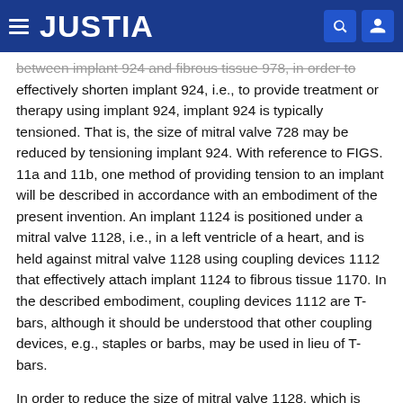JUSTIA
between implant 924 and fibrous tissue 978, in order to effectively shorten implant 924, i.e., to provide treatment or therapy using implant 924, implant 924 is typically tensioned. That is, the size of mitral valve 728 may be reduced by tensioning implant 924. With reference to FIGS. 11a and 11b, one method of providing tension to an implant will be described in accordance with an embodiment of the present invention. An implant 1124 is positioned under a mitral valve 1128, i.e., in a left ventricle of a heart, and is held against mitral valve 1128 using coupling devices 1112 that effectively attach implant 1124 to fibrous tissue 1170. In the described embodiment, coupling devices 1112 are T-bars, although it should be understood that other coupling devices, e.g., staples or barbs, may be used in lieu of T-bars.
In order to reduce the size of mitral valve 1128, which is